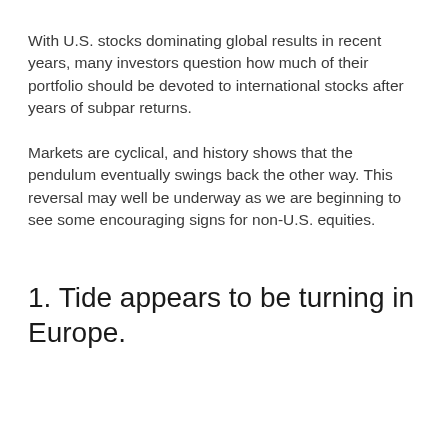With U.S. stocks dominating global results in recent years, many investors question how much of their portfolio should be devoted to international stocks after years of subpar returns.
Markets are cyclical, and history shows that the pendulum eventually swings back the other way. This reversal may well be underway as we are beginning to see some encouraging signs for non-U.S. equities.
1. Tide appears to be turning in Europe.